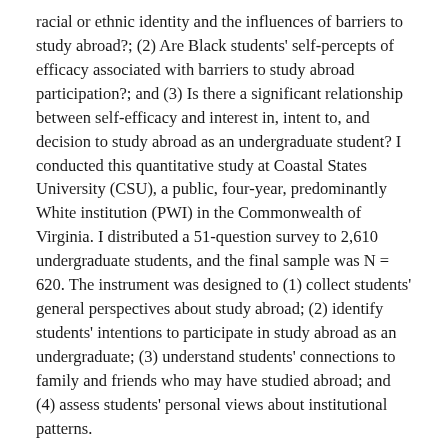racial or ethnic identity and the influences of barriers to study abroad?; (2) Are Black students' self-percepts of efficacy associated with barriers to study abroad participation?; and (3) Is there a significant relationship between self-efficacy and interest in, intent to, and decision to study abroad as an undergraduate student? I conducted this quantitative study at Coastal States University (CSU), a public, four-year, predominantly White institution (PWI) in the Commonwealth of Virginia. I distributed a 51-question survey to 2,610 undergraduate students, and the final sample was N = 620. The instrument was designed to (1) collect students' general perspectives about study abroad; (2) identify students' intentions to participate in study abroad as an undergraduate; (3) understand students' connections to family and friends who may have studied abroad; and (4) assess students' personal views about institutional patterns.
I utilized a variety of statistical techniques to answer the research questions, including factor analysis, multivariate analysis of variance (MANOVA), multiple regression, correlation, and one-way between-groups analysis of variance (ANOVA). First, there was a significant difference